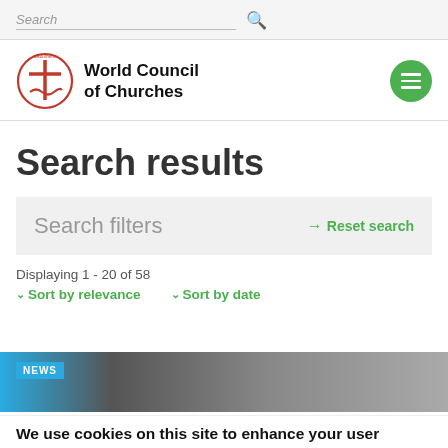Search
[Figure (logo): World Council of Churches logo with red cross and oikoumene text, alongside text 'World Council of Churches']
Search results
Search filters
Reset search
Displaying 1 - 20 of 58
Sort by relevance   Sort by date
[Figure (photo): News article thumbnail image]
NEWS
We use cookies on this site to enhance your user